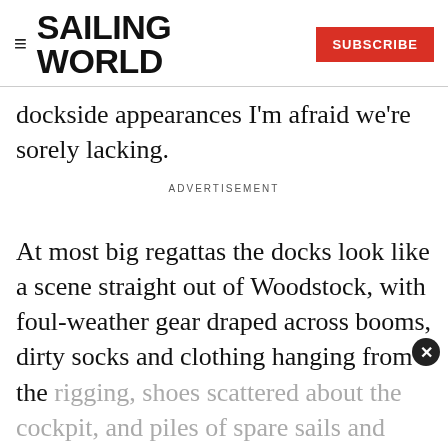SAILING WORLD | SUBSCRIBE
dockside appearances I'm afraid we're sorely lacking.
ADVERTISEMENT
At most big regattas the docks look like a scene straight out of Woodstock, with foul-weather gear draped across booms, dirty socks and clothing hanging from the rigging, shoes scattered about the cockpit, and piles of spare sails and trash haphazardly lumped on the dock. If a boat